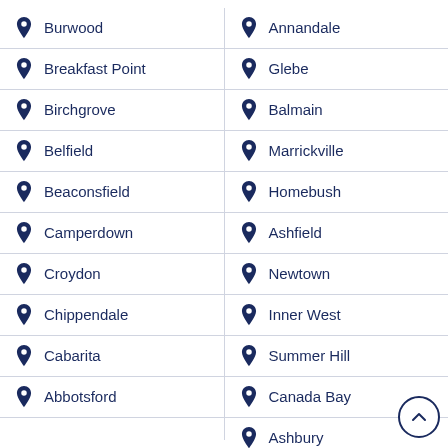Burwood
Breakfast Point
Birchgrove
Belfield
Beaconsfield
Camperdown
Croydon
Chippendale
Cabarita
Abbotsford
Annandale
Glebe
Balmain
Marrickville
Homebush
Ashfield
Newtown
Inner West
Summer Hill
Canada Bay
Ashbury